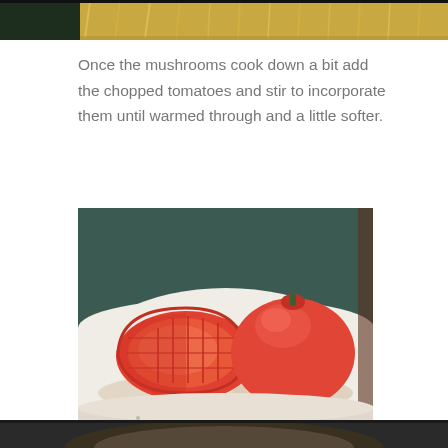[Figure (photo): Partial view of a dish being cooked, showing food in a pan from above, visible at the top of the page]
Once the mushrooms cook down a bit add the chopped tomatoes and stir to incorporate them until warmed through and a little softer.
[Figure (photo): A tomato being chopped on a white cutting board. One half is diced into small pieces fanning out, and the other half is the intact dome of the tomato. The cutting board sits on a dark green surface.]
[Figure (photo): Partial view of another cooking step, visible at the bottom of the page]